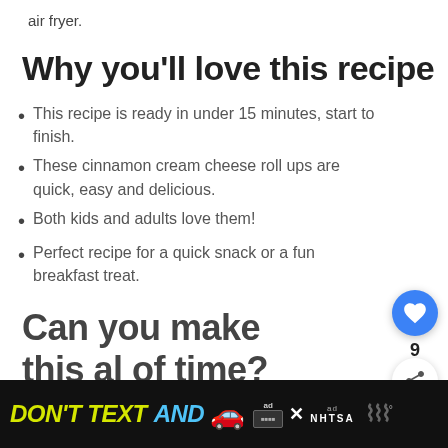air fryer.
Why you'll love this recipe
This recipe is ready in under 15 minutes, start to finish.
These cinnamon cream cheese roll ups are quick, easy and delicious.
Both kids and adults love them!
Perfect recipe for a quick snack or a fun breakfast treat.
Can you make this al... of time?
[Figure (screenshot): Social media floating action buttons: heart/like button (blue circle, count 9) and share button (white circle). What's Next panel showing Baked Oatmeal For... with food image thumbnail.]
[Figure (screenshot): Ad banner: DON'T TEXT AND [car emoji] with NHTSA branding and ad close button on dark background.]